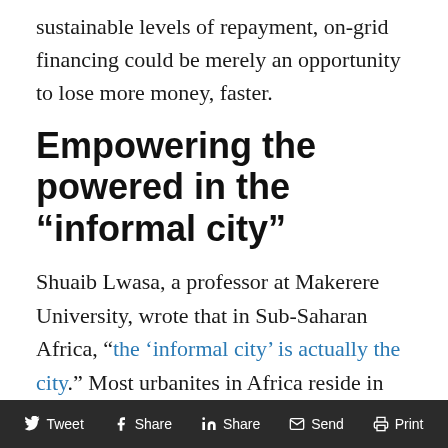sustainable levels of repayment, on-grid financing could be merely an opportunity to lose more money, faster.
Empowering the powered in the “information city”
Shuaib Lwasa, a professor at Makerere University, wrote that in Sub-Saharan Africa, “the ‘informal city’ is actually the city.” Most urbanites in Africa reside in liminal, semi-formal spaces where centralized infrastructure is unreliable yet present, and a hodgepodge of private and informal services providers take up the slack. It also means that utility...
Tweet  Share  Share  Send  Print